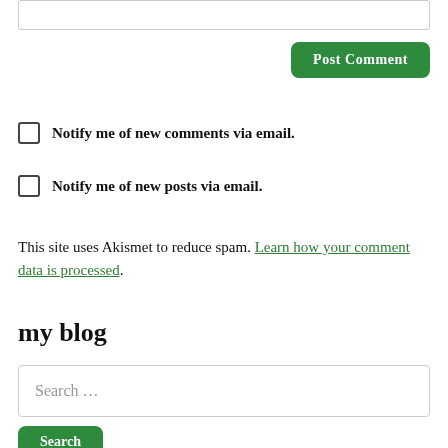[text input box]
Post Comment
Notify me of new comments via email.
Notify me of new posts via email.
This site uses Akismet to reduce spam. Learn how your comment data is processed.
my blog
Search ...
Search